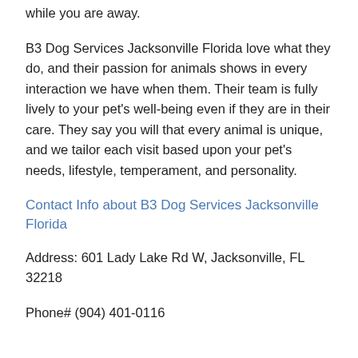while you are away.
B3 Dog Services Jacksonville Florida love what they do, and their passion for animals shows in every interaction we have when them. Their team is fully lively to your pet's well-being even if they are in their care. They say you will that every animal is unique, and we tailor each visit based upon your pet's needs, lifestyle, temperament, and personality.
Contact Info about B3 Dog Services Jacksonville Florida
Address: 601 Lady Lake Rd W, Jacksonville, FL 32218
Phone# (904) 401-0116